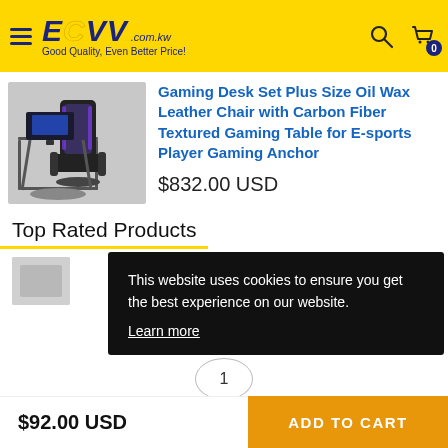[Figure (screenshot): ECVV website header with yellow background, hamburger menu, ECVV logo, tagline 'Good Quality, Even Better Price!', search icon, and cart icon with badge showing 0]
[Figure (photo): Gaming desk set with plus size oil wax leather chair and carbon fiber textured gaming table, shown in a room setting]
Gaming Desk Set Plus Size Oil Wax Leather Chair with Carbon Fiber Textured Gaming Table for E-sports Player Gaming Anchor
$832.00 USD
Top Rated Products
[Figure (photo): Small thumbnail of a product in Top Rated Products section]
This website uses cookies to ensure you get the best experience on our website.
Learn more
1
$92.00 USD
ADD TO CART